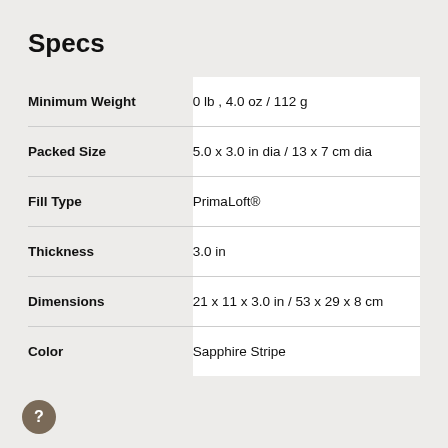Specs
|  |  |
| --- | --- |
| Minimum Weight | 0 lb , 4.0 oz / 112 g |
| Packed Size | 5.0 x 3.0 in dia / 13 x 7 cm dia |
| Fill Type | PrimaLoft® |
| Thickness | 3.0 in |
| Dimensions | 21 x 11 x 3.0 in / 53 x 29 x 8 cm |
| Color | Sapphire Stripe |